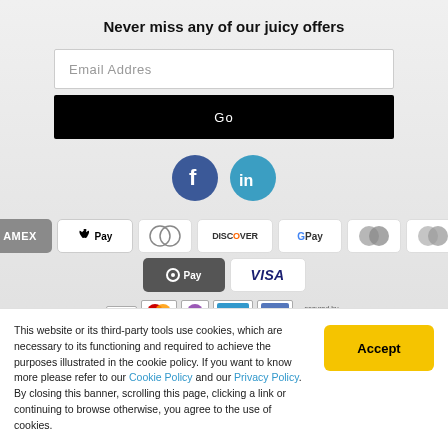Never miss any of our juicy offers
[Figure (screenshot): Email address input field with placeholder text 'Email Addres']
[Figure (screenshot): Black 'Go' button]
[Figure (logo): Facebook and LinkedIn social media icon circles]
[Figure (logo): Payment method badges: AMEX, Apple Pay, Diners, Discover, G Pay, Mastercard (x2), O Pay, VISA]
[Figure (logo): Bottom row of payment logos: VISA, MasterCard, Solo, Maestro, Amex, secured by SagePay]
This website or its third-party tools use cookies, which are necessary to its functioning and required to achieve the purposes illustrated in the cookie policy. If you want to know more please refer to our Cookie Policy and our Privacy Policy. By closing this banner, scrolling this page, clicking a link or continuing to browse otherwise, you agree to the use of cookies.